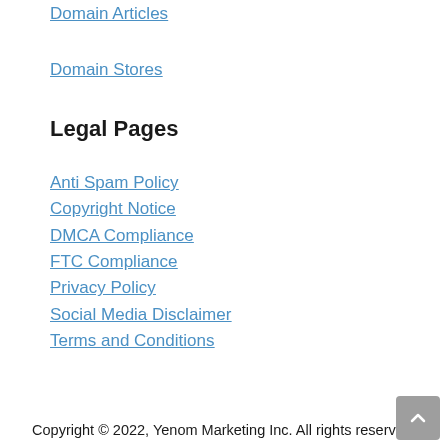Domain Articles
Domain Stores
Legal Pages
Anti Spam Policy
Copyright Notice
DMCA Compliance
FTC Compliance
Privacy Policy
Social Media Disclaimer
Terms and Conditions
Copyright © 2022, Yenom Marketing Inc. All rights reserved.